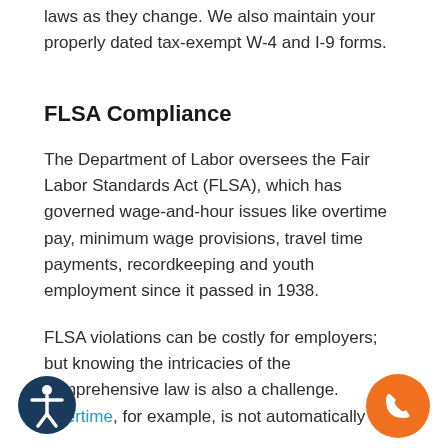laws as they change. We also maintain your properly dated tax-exempt W-4 and I-9 forms.
FLSA Compliance
The Department of Labor oversees the Fair Labor Standards Act (FLSA), which has governed wage-and-hour issues like overtime pay, minimum wage provisions, travel time payments, recordkeeping and youth employment since it passed in 1938.
FLSA violations can be costly for employers; but knowing the intricacies of the comprehensive law is also a challenge. Overtime, for example, is not automatically